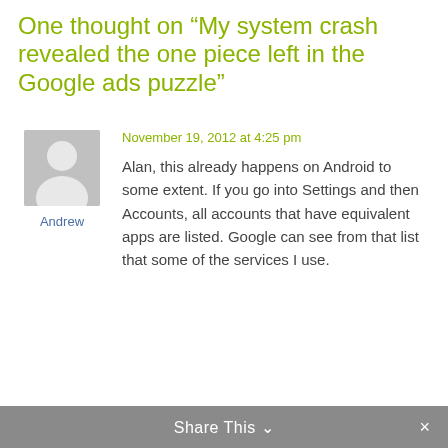One thought on “My system crash revealed the one piece left in the Google ads puzzle”
[Figure (illustration): Generic user avatar placeholder: grey square with white silhouette of a person]
Andrew
November 19, 2012 at 4:25 pm
Alan, this already happens on Android to some extent. If you go into Settings and then Accounts, all accounts that have equivalent apps are listed. Google can see from that list that some of the services I use.
Share This ⌄  ×